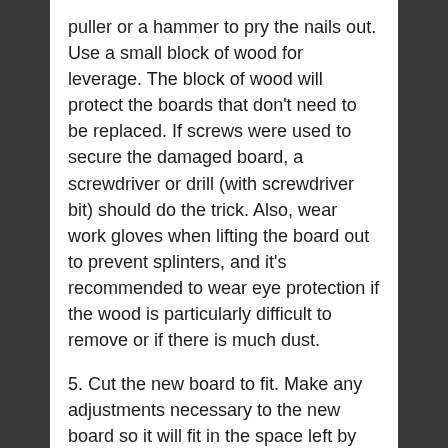puller or a hammer to pry the nails out. Use a small block of wood for leverage. The block of wood will protect the boards that don't need to be replaced. If screws were used to secure the damaged board, a screwdriver or drill (with screwdriver bit) should do the trick. Also, wear work gloves when lifting the board out to prevent splinters, and it's recommended to wear eye protection if the wood is particularly difficult to remove or if there is much dust.
5. Cut the new board to fit. Make any adjustments necessary to the new board so it will fit in the space left by the damaged board. A handsaw or electric saw can help you cut the new board down to size, make sure to make any notes on how the wood expands or contracts during the seasons.